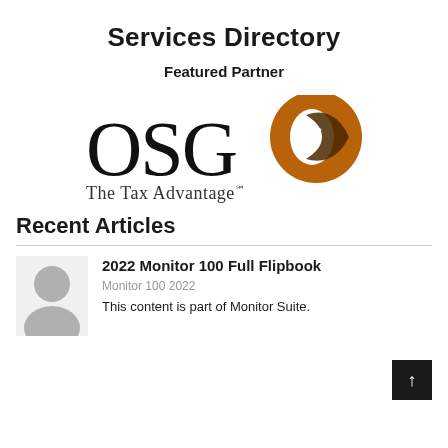Services Directory
Featured Partner
[Figure (logo): OSG The Tax Advantage logo — black serif letters 'OSG' with a stylized brown/orange circular swoosh forming the letter 'e' integrated into the last letter. Tagline: The Tax Advantage℠]
Recent Articles
[Figure (photo): Generic grey silhouette avatar of a person (placeholder image)]
2022 Monitor 100 Full Flipbook
Monitor 100 2022
This content is part of Monitor Suite.